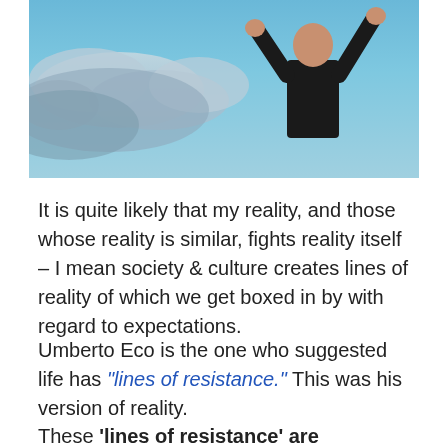[Figure (photo): A person with arms raised against a blue sky with clouds, viewed from behind, wearing a black t-shirt]
It is quite likely that my reality, and those whose reality is similar, fights reality itself – I mean society & culture creates lines of reality of which we get boxed in by with regard to expectations.
Umberto Eco is the one who suggested life has "lines of resistance." This was his version of reality.
These 'lines of resistance' are